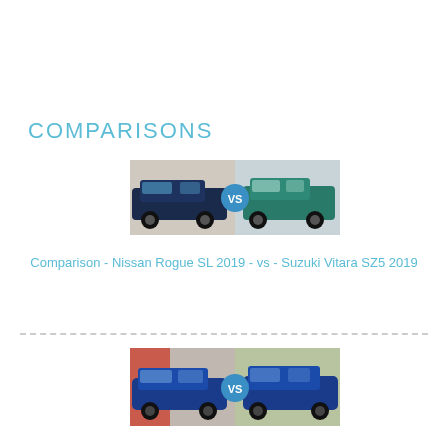COMPARISONS
[Figure (illustration): Car comparison image showing Nissan Rogue SL 2019 (blue SUV on left) vs Suzuki Vitara SZ5 2019 (teal SUV on right) with a blue 'vs' circle badge in the center]
Comparison - Nissan Rogue SL 2019 - vs - Suzuki Vitara SZ5 2019
[Figure (illustration): Car comparison image showing two blue Jaguar SUVs facing each other with a blue 'vs' circle badge in the center]